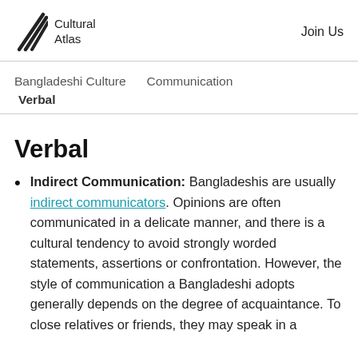Cultural Atlas | Join Us
Bangladeshi Culture | Communication | Verbal
Verbal
Indirect Communication: Bangladeshis are usually indirect communicators. Opinions are often communicated in a delicate manner, and there is a cultural tendency to avoid strongly worded statements, assertions or confrontation. However, the style of communication a Bangladeshi adopts generally depends on the degree of acquaintance. To close relatives or friends, they may speak in a